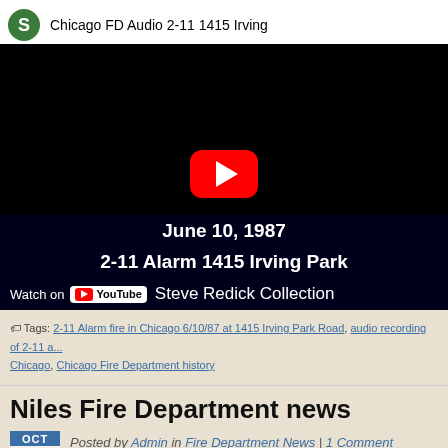[Figure (screenshot): YouTube video embed showing 'Chicago FD Audio 2-11 1415 Irving' with black background, red play button, and overlay text: 'June 10, 1987 / 2-11 Alarm 1415 Irving Park / Steve Redick Collection'. Watch on YouTube bar visible at bottom.]
Tags: 2-11 Alarm fire in Chicago 6/10/87 at 1415 Irving Park Road, audio recording of 2-11 a... Chicago, Chicago Fire Department history
Niles Fire Department news
Posted by Admin in Fire Department News | 1 Comment